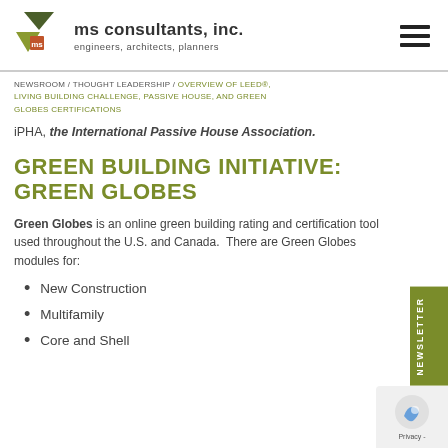ms consultants, inc. — engineers, architects, planners
NEWSROOM / THOUGHT LEADERSHIP / OVERVIEW OF LEED®, LIVING BUILDING CHALLENGE, PASSIVE HOUSE, AND GREEN GLOBES CERTIFICATIONS
iPHA, the International Passive House Association.
GREEN BUILDING INITIATIVE: GREEN GLOBES
Green Globes is an online green building rating and certification tool used throughout the U.S. and Canada.  There are Green Globes modules for:
New Construction
Multifamily
Core and Shell